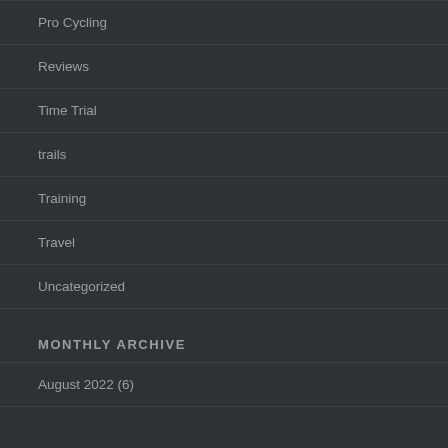Pro Cycling
Reviews
Time Trial
trails
Training
Travel
Uncategorized
MONTHLY ARCHIVE
August 2022 (6)